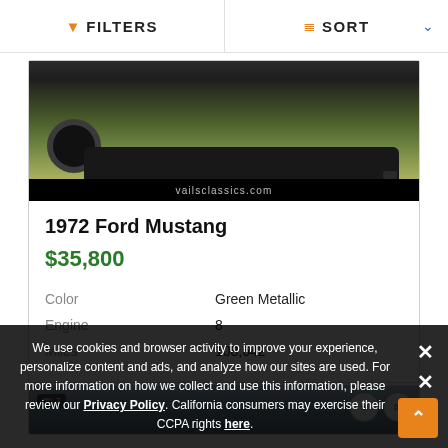FILTERS   SORT
[Figure (photo): Partial front/underside view of a 1972 Ford Mustang on grass, with vailsclassics.com watermark bar at bottom]
1972 Ford Mustang
$35,800
| Color | Green Metallic |
| Engine | 8 |
| Miles | 108,642 |
[Figure (photo): Partial view of a second car listing with sky background, showing image count badge and action buttons]
We use cookies and browser activity to improve your experience, personalize content and ads, and analyze how our sites are used. For more information on how we collect and use this information, please review our Privacy Policy. California consumers may exercise their CCPA rights here.